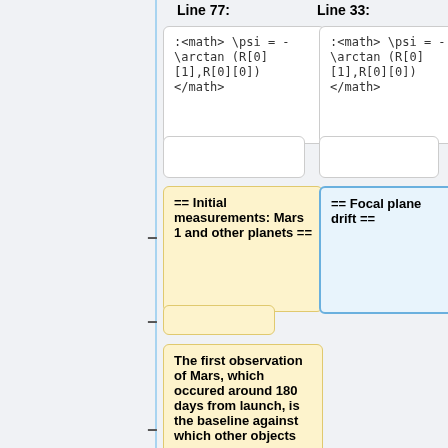Line 77:
Line 33:
:<math> \psi = -\arctan (R[0][1],R[0][0]) </math>
:<math> \psi = -\arctan (R[0][1],R[0][0]) </math>
== Initial measurements: Mars 1 and other planets ==
== Focal plane drift ==
The first observation of Mars, which occured around 180 days from launch, is the baseline against which other objects